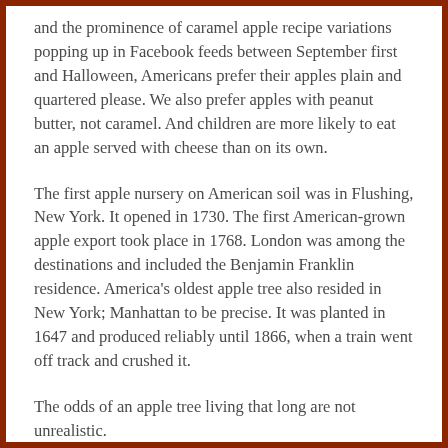and the prominence of caramel apple recipe variations popping up in Facebook feeds between September first and Halloween, Americans prefer their apples plain and quartered please. We also prefer apples with peanut butter, not caramel. And children are more likely to eat an apple served with cheese than on its own.
The first apple nursery on American soil was in Flushing, New York. It opened in 1730. The first American-grown apple export took place in 1768. London was among the destinations and included the Benjamin Franklin residence. America's oldest apple tree also resided in New York; Manhattan to be precise. It was planted in 1647 and produced reliably until 1866, when a train went off track and crushed it.
The odds of an apple tree living that long are not unrealistic.